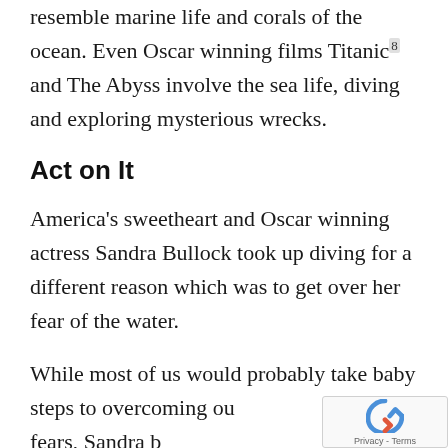resemble marine life and corals of the ocean. Even Oscar winning films Titanic and The Abyss involve the sea life, diving and exploring mysterious wrecks.
Act on It
America's sweetheart and Oscar winning actress Sandra Bullock took up diving for a different reason which was to get over her fear of the water.
While most of us would probably take baby steps to overcoming our fears, Sandra b...